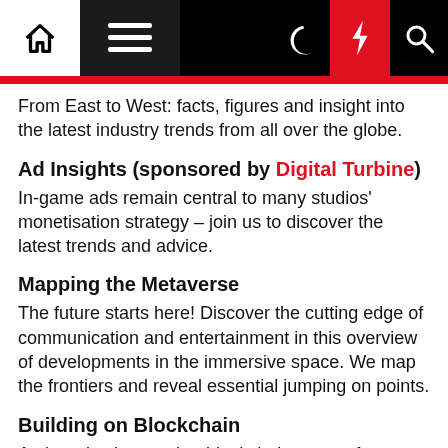Navigation bar with home, menu, moon, bolt, and search icons
From East to West: facts, figures and insight into the latest industry trends from all over the globe.
Ad Insights (sponsored by Digital Turbine)
In-game ads remain central to many studios' monetisation strategy – join us to discover the latest trends and advice.
Mapping the Metaverse
The future starts here! Discover the cutting edge of communication and entertainment in this overview of developments in the immersive space. We map the frontiers and reveal essential jumping on points.
Building on Blockchain
An introduction to what blockchain means for any developer – with insights into the technology and how crypto works with games.